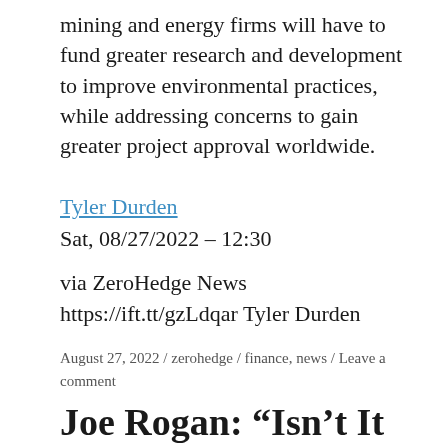mining and energy firms will have to fund greater research and development to improve environmental practices, while addressing concerns to gain greater project approval worldwide.
Tyler Durden
Sat, 08/27/2022 – 12:30
via ZeroHedge News https://ift.tt/gzLdqar Tyler Durden
August 27, 2022 / zerohedge / finance, news / Leave a comment
Joe Rogan: “Isn’t It